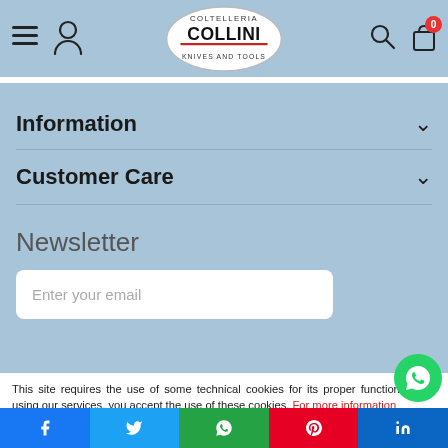[Figure (logo): Coltelleria Collini - Knives and Tools logo in oval shape]
Information
Customer Care
Newsletter
Enter your email
This site requires the use of some technical cookies for its proper functioning. By using our services, you accept the use of these cookies. For more information
Settings
Agree